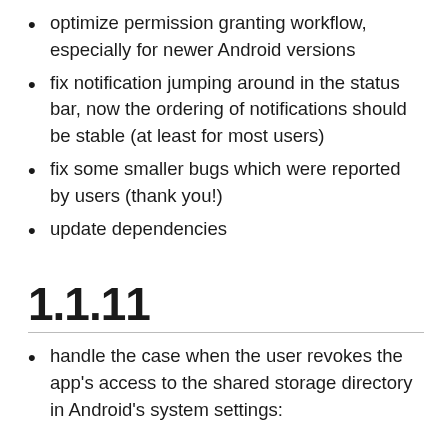optimize permission granting workflow, especially for newer Android versions
fix notification jumping around in the status bar, now the ordering of notifications should be stable (at least for most users)
fix some smaller bugs which were reported by users (thank you!)
update dependencies
1.1.11
handle the case when the user revokes the app's access to the shared storage directory in Android's system settings: